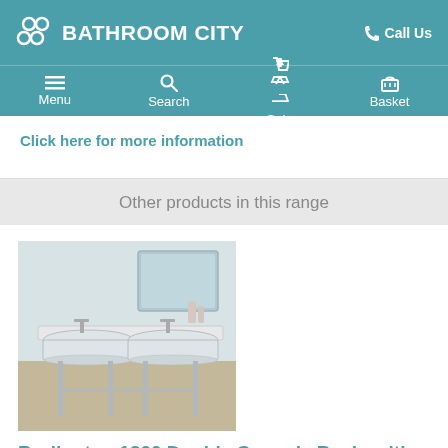BATHROOM CITY — Call Us
Menu | Search | Sale | Basket
Click here for more information
Other products in this range
[Figure (photo): Burlington 1200 Double Ceramic Basin with Legs product photo showing a wide ceramic double basin mounted on chrome legs in a bathroom setting]
Burlington 1200 Double Ceramic Basin with Legs
£662.00
Code: 180222